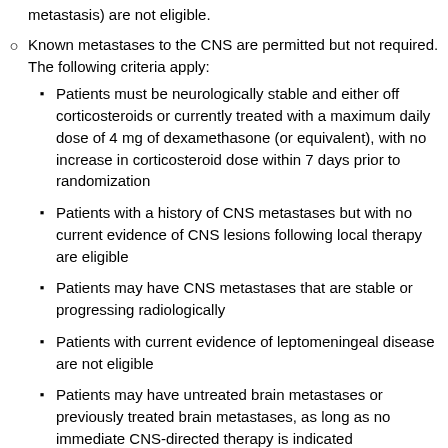metastasis) are not eligible.
Known metastases to the CNS are permitted but not required. The following criteria apply:
Patients must be neurologically stable and either off corticosteroids or currently treated with a maximum daily dose of 4 mg of dexamethasone (or equivalent), with no increase in corticosteroid dose within 7 days prior to randomization
Patients with a history of CNS metastases but with no current evidence of CNS lesions following local therapy are eligible
Patients may have CNS metastases that are stable or progressing radiologically
Patients with current evidence of leptomeningeal disease are not eligible
Patients may have untreated brain metastases or previously treated brain metastases, as long as no immediate CNS-directed therapy is indicated…